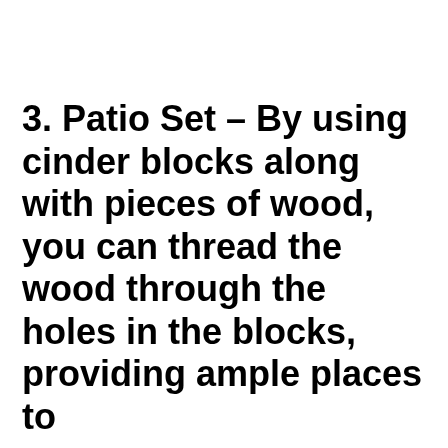3. Patio Set – By using cinder blocks along with pieces of wood, you can thread the wood through the holes in the blocks, providing ample places to